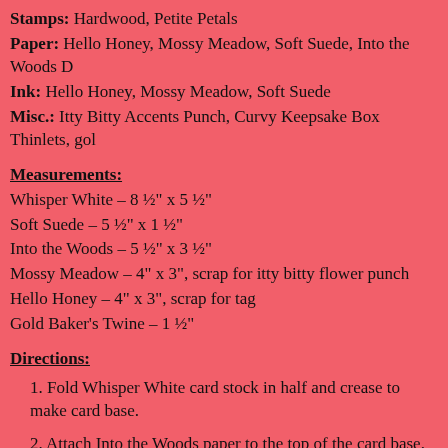Stamps: Hardwood, Petite Petals
Paper: Hello Honey, Mossy Meadow, Soft Suede, Into the Woods D
Ink: Hello Honey, Mossy Meadow, Soft Suede
Misc.: Itty Bitty Accents Punch, Curvy Keepsake Box Thinlets, gol
Measurements:
Whisper White – 8 ½" x 5 ½"
Soft Suede – 5 ½" x 1 ½"
Into the Woods – 5 ½" x 3 ½"
Mossy Meadow – 4" x 3", scrap for itty bitty flower punch
Hello Honey – 4" x 3", scrap for tag
Gold Baker's Twine – 1 ½"
Directions:
1. Fold Whisper White card stock in half and crease to make card base.
2. Attach Into the Woods paper to the top of the card base.
3. Stamp the Hardwood stamp onto the Soft Suede paper with the Soft